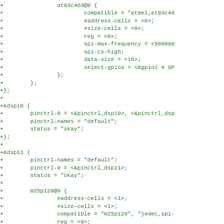Diff/patch code block showing device tree source additions for at93c46d, dspi0, and dspi1 nodes